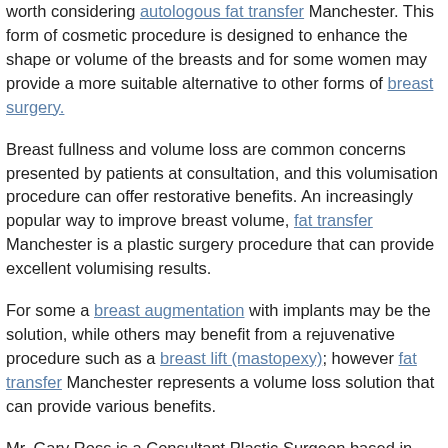worth considering autologous fat transfer Manchester. This form of cosmetic procedure is designed to enhance the shape or volume of the breasts and for some women may provide a more suitable alternative to other forms of breast surgery.
Breast fullness and volume loss are common concerns presented by patients at consultation, and this volumisation procedure can offer restorative benefits. An increasingly popular way to improve breast volume, fat transfer Manchester is a plastic surgery procedure that can provide excellent volumising results.
For some a breast augmentation with implants may be the solution, while others may benefit from a rejuvenative procedure such as a breast lift (mastopexy); however fat transfer Manchester represents a volume loss solution that can provide various benefits.
Mr. Gary Ross is a Consultant Plastic Surgeon based in